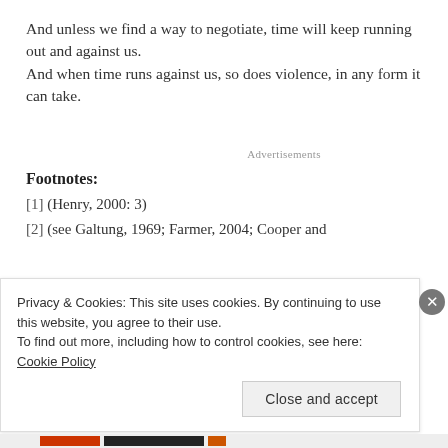And unless we find a way to negotiate, time will keep running out and against us.
And when time runs against us, so does violence, in any form it can take.
Advertisements
Footnotes:
[1] (Henry, 2000: 3)
[2] (see Galtung, 1969; Farmer, 2004; Cooper and
Privacy & Cookies: This site uses cookies. By continuing to use this website, you agree to their use.
To find out more, including how to control cookies, see here: Cookie Policy
Close and accept